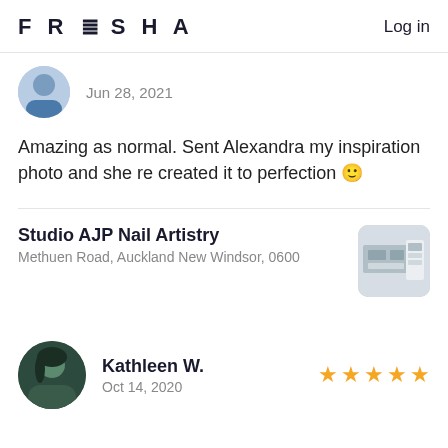FRESHA   Log in
Jun 28, 2021
Amazing as normal. Sent Alexandra my inspiration photo and she re created it to perfection 🙂
Studio AJP Nail Artistry
Methuen Road, Auckland New Windsor, 0600
Kathleen W.
Oct 14, 2020